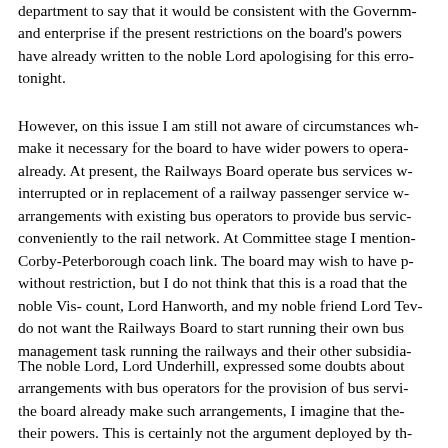department to say that it would be consistent with the Government and enterprise if the present restrictions on the board's powers have already written to the noble Lord apologising for this error tonight.
However, on this issue I am still not aware of circumstances which make it necessary for the board to have wider powers to operate already. At present, the Railways Board operate bus services when interrupted or in replacement of a railway passenger service with arrangements with existing bus operators to provide bus services conveniently to the rail network. At Committee stage I mentioned the Corby-Peterborough coach link. The board may wish to have powers without restriction, but I do not think that this is a road that the noble Vis- count, Lord Hanworth, and my noble friend Lord Tev- not do not want the Railways Board to start running their own bus management task running the railways and their other subsidiaries.
The noble Lord, Lord Underhill, expressed some doubts about arrangements with bus operators for the provision of bus services the board already make such arrangements, I imagine that they have their powers. This is certainly not the argument deployed by the